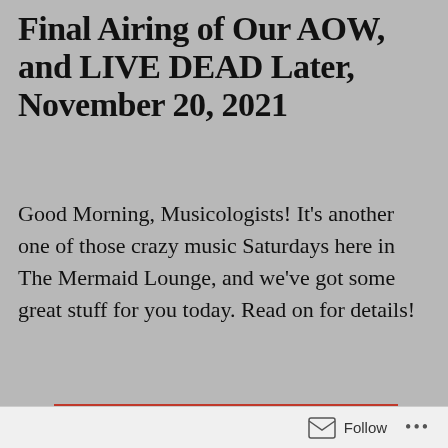Final Airing of Our AOW, and LIVE DEAD Later, November 20, 2021
Good Morning, Musicologists! It's another one of those crazy music Saturdays here in The Mermaid Lounge, and we've got some great stuff for you today. Read on for details!
[Figure (photo): A collage of four black-and-white and color photos showing groups of musicians and performers. Top-left: a group of men in dark clothing posing together. Top-right: three women seated together on a couch, one blonde in a white outfit. Bottom-left: a group of people in what appears to be an informal setting. Bottom-right: a group of men.]
Follow ...